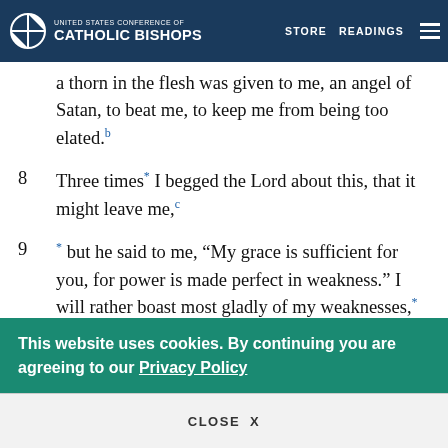UNITED STATES CONFERENCE OF CATHOLIC BISHOPS | STORE | READINGS
a thorn in the flesh was given to me, an angel of Satan, to beat me, to keep me from being too elated.[b]
8 Three times[*] I begged the Lord about this, that it might leave me,[c]
9 [*] but he said to me, “My grace is sufficient for you, for power is made perfect in weakness.” I will rather boast most gladly of my weaknesses,[*] in order that the power of Christ
This website uses cookies. By continuing you are agreeing to our Privacy Policy
CLOSE X